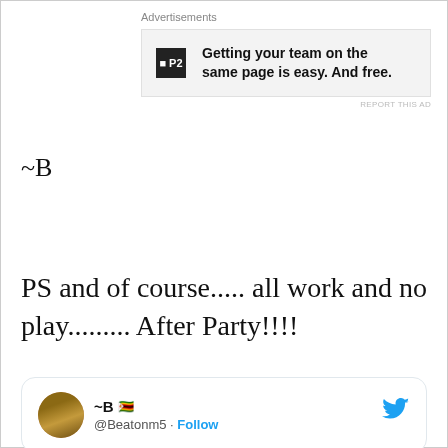Advertisements
[Figure (other): Advertisement banner for P2 with logo and text: Getting your team on the same page is easy. And free.]
REPORT THIS AD
~B
PS and of course..... all work and no play......... After Party!!!!
[Figure (screenshot): Embedded tweet card from @Beatonm5 (~B 🇿🇼) with Twitter bird logo and Follow link]